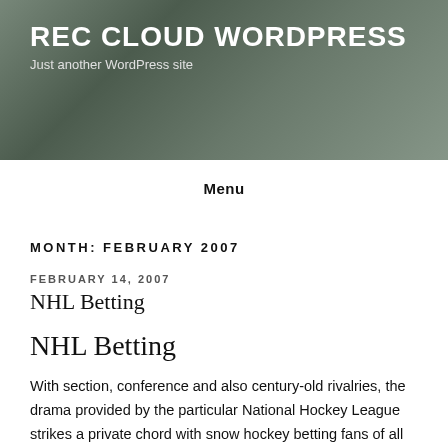[Figure (photo): Dark grey-green banner with plant/vase in background]
REC CLOUD WORDPRESS
Just another WordPress site
Menu
MONTH: FEBRUARY 2007
FEBRUARY 14, 2007
NHL Betting
NHL Betting
With section, conference and also century-old rivalries, the drama provided by the particular National Hockey League strikes a private chord with snow hockey betting fans of all experience levels. Teams physically punish the